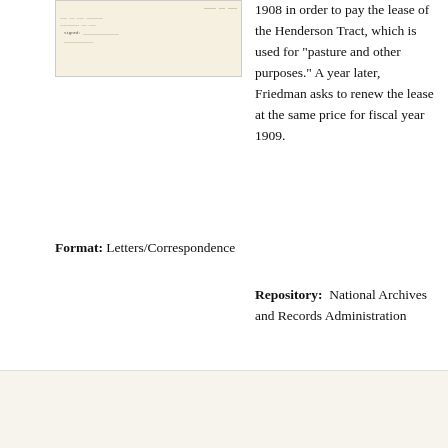[Figure (photo): Thumbnail image of a historical letter or correspondence document, yellowed paper with handwritten text.]
1908 in order to pay the lease of the Henderson Tract, which is used for "pasture and other purposes." A year later, Friedman asks to renew the lease at the same price for fiscal year 1909.
Format: Letters/Correspondence
Repository: National Archives and Records Administration
[Figure (photo): Thumbnail image of a historical government letter from the Department of the Interior, Indian Industrial School, dated April 1908.]
Veterinary Inspector to Test Carlisle Cattle for Tuberculosis, 1908
September 28 - October 26, 1908